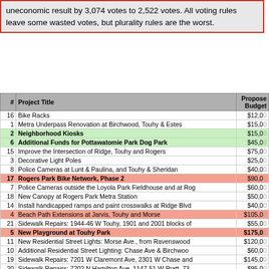uneconomic result by 3,074 votes to 2,522 votes. All voting rules leave some wasted votes, but plurality rules are the worst.
| # | Project Title | Proposed Budget |
| --- | --- | --- |
| 16 | Bike Racks | $12,0... |
| 1 | Metra Underpass Renovation at Birchwood, Touhy & Estes | $15,0... |
| 2 | Neighborhood Kiosks | $15,0... |
| 6 | Additional Funds for Pottawatomie Park Dog Park | $45,0... |
| 15 | Improve the Intersection of Ridge, Touhy and Rogers | $75,0... |
| 3 | Decorative Light Poles | $25,0... |
| 8 | Police Cameras at Lunt & Paulina, and Touhy & Sheridan | $40,0... |
| 17 | Rogers Park Bike Network, Phase 2 | $90,0... |
| 7 | Police Cameras outside the Loyola Park Fieldhouse and at Rog... | $60,0... |
| 18 | New Canopy at Rogers Park Metra Station | $50,0... |
| 14 | Install handicapped ramps and paint crosswalks at Ridge Blvd... | $40,0... |
| 4 | Beach Path Extensions at Jarvis, Touhy and Morse | $105,0... |
| 21 | Sidewalk Repairs: 1944-46 W Touhy, 1901 and 2001 blocks of... | $55,0... |
| 5 | New Playground at Touhy Park | $175,0... |
| 11 | New Residential Street Lights: Morse Ave., from Ravenswood... | $120,0... |
| 10 | Additional Residential Street Lighting: Chase Ave & Birchwoo... | $60,0... |
| 19 | Sidewalk Repairs: 7201 W Claremont Ave, 2301 W Chase and... | $145,0... |
| 20 | Sidewalk Repairs: 7202 N Hamilton Ave, 1147-51 W Pratt, 73... | $95,0... |
| 12 | New Residential Street Lights: Estes Ave., from Asland Blvd. | $120,0... |
| 9 | New Residential Street Lights: Juneway Terr, from Asland Ave... | $130,0... |
| 13 | Ashland and Greenleaf Traffic/Pedestrian Signal | $320,0... |
|  | TOTALS | $1,792,0... |